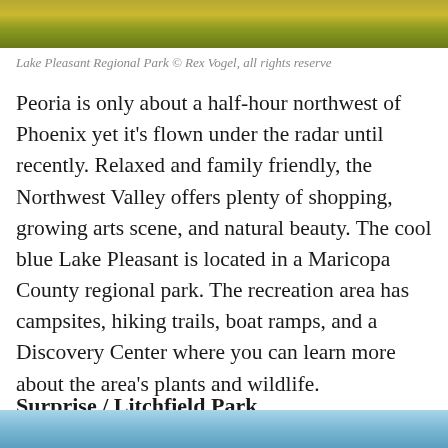[Figure (photo): Top portion of a photo showing yellow wildflowers against greenery at Lake Pleasant Regional Park]
Lake Pleasant Regional Park © Rex Vogel, all rights reserve
Peoria is only about a half-hour northwest of Phoenix yet it's flown under the radar until recently. Relaxed and family friendly, the Northwest Valley offers plenty of shopping, growing arts scene, and natural beauty. The cool blue Lake Pleasant is located in a Maricopa County regional park. The recreation area has campsites, hiking trails, boat ramps, and a Discovery Center where you can learn more about the area's plants and wildlife.
Surprise / Litchfield Park
[Figure (photo): Bottom portion of a photo, partially visible, showing a blue water scene]